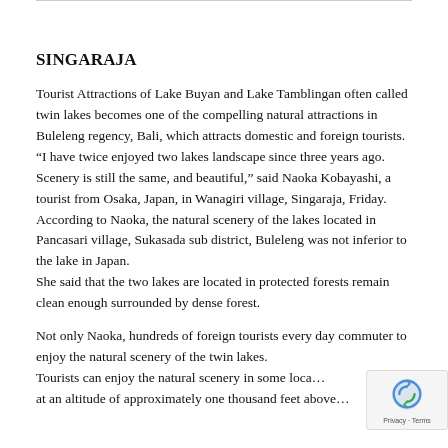SINGARAJA
Tourist Attractions of Lake Buyan and Lake Tamblingan often called twin lakes becomes one of the compelling natural attractions in Buleleng regency, Bali, which attracts domestic and foreign tourists.
“I have twice enjoyed two lakes landscape since three years ago. Scenery is still the same, and beautiful,” said Naoka Kobayashi, a tourist from Osaka, Japan, in Wanagiri village, Singaraja, Friday.
According to Naoka, the natural scenery of the lakes located in Pancasari village, Sukasada sub district, Buleleng was not inferior to the lake in Japan.
She said that the two lakes are located in protected forests remain clean enough surrounded by dense forest.
Not only Naoka, hundreds of foreign tourists every day commuter to enjoy the natural scenery of the twin lakes.
Tourists can enjoy the natural scenery in some loca... at an altitude of approximately one thousand feet above...